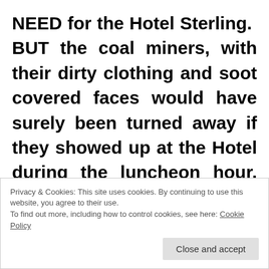NEED for the Hotel Sterling.  BUT the coal miners, with their dirty clothing and soot covered faces would have surely been turned away if they showed up at the Hotel during the luncheon hour, or for a few beers at the bar on their way home
Privacy & Cookies: This site uses cookies. By continuing to use this website, you agree to their use. To find out more, including how to control cookies, see here: Cookie Policy
Close and accept